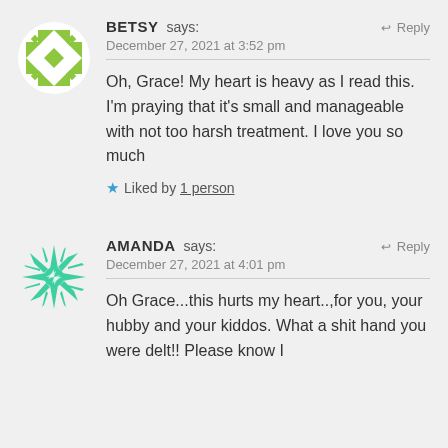[Figure (illustration): Green and white geometric snowflake/pinwheel avatar for user Betsy]
BETSY says: ↩ Reply
December 27, 2021 at 3:52 pm
Oh, Grace! My heart is heavy as I read this. I'm praying that it's small and manageable with not too harsh treatment. I love you so much
★ Liked by 1 person
[Figure (illustration): Teal/green spiky snowflake avatar for user Amanda]
AMANDA says: ↩ Reply
December 27, 2021 at 4:01 pm
Oh Grace...this hurts my heart..,for you, your hubby and your kiddos. What a shit hand you were delt!! Please know I